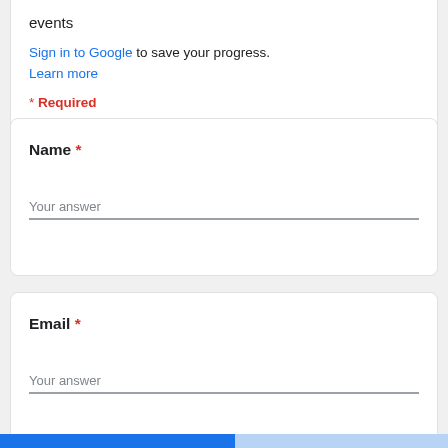events
Sign in to Google to save your progress.
Learn more
* Required
Name *
Your answer
Email *
Your answer